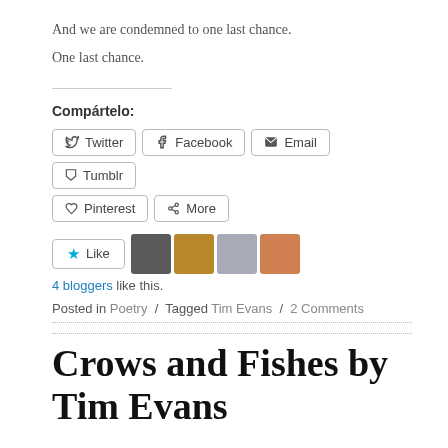And we are condemned to one last chance.
One last chance.
Compártelo:
[Figure (other): Share buttons row 1: Twitter, Facebook, Email, Tumblr]
[Figure (other): Share buttons row 2: Pinterest, More]
[Figure (other): Like button with 4 blogger avatars]
4 bloggers like this.
Posted in Poetry / Tagged Tim Evans / 2 Comments
Crows and Fishes by Tim Evans